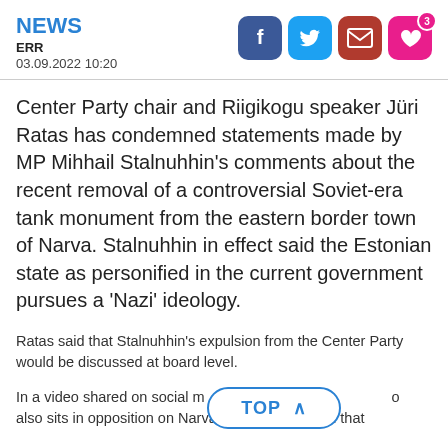NEWS
ERR
03.09.2022 10:20
[Figure (other): Social media sharing icons: Facebook, Twitter, Email, Heart (with badge '3')]
Center Party chair and Riigikogu speaker Jüri Ratas has condemned statements made by MP Mihhail Stalnuhhin's comments about the recent removal of a controversial Soviet-era tank monument from the eastern border town of Narva. Stalnuhhin in effect said the Estonian state as personified in the current government pursues a 'Nazi' ideology.
Ratas said that Stalnuhhin's expulsion from the Center Party would be discussed at board level.
In a video shared on social m... o also sits in opposition on Narva's city council, said that